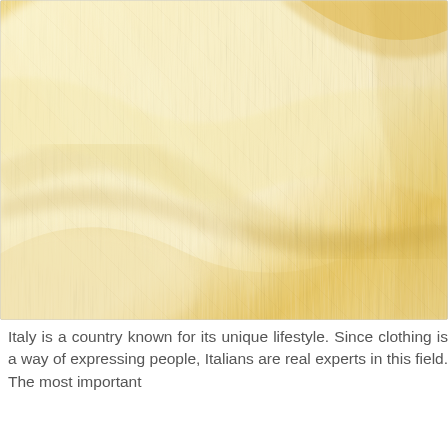[Figure (photo): Close-up photograph of soft, flowing pale yellow/cream fabric with gentle folds and waves, showing fine textile texture.]
Italy is a country known for its unique lifestyle. Since clothing is a way of expressing people, Italians are real experts in this field. The most important